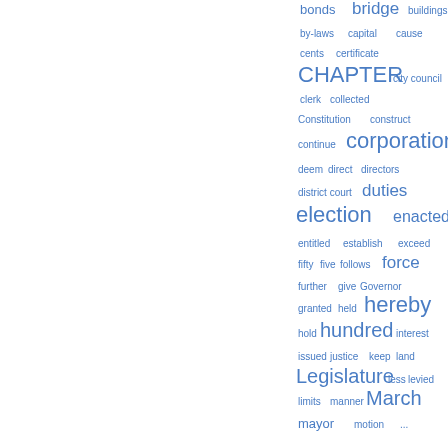[Figure (other): Word cloud / tag cloud of legal and governmental terms in varying font sizes rendered in blue, showing terms like bonds, bridge, buildings, by-laws, capital, cause, cents, certificate, CHAPTER, city council, clerk, collected, Constitution, construct, continue, corporation, deem, direct, directors, district court, duties, election, enacted, entitled, establish, exceed, fifty, five, follows, force, further, give, Governor, granted, held, hereby, hold, hundred, interest, issued, justice, keep, land, Legislature, less, levied, limits, manner, March, mayor, motion, and more.]